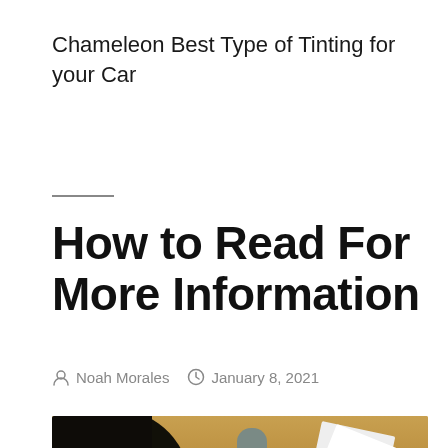Chameleon Best Type of Tinting for your Car
How to Read For More Information
Noah Morales   January 8, 2021
[Figure (photo): Photo of a desk with a coffee cup, a key, and white paper documents on a wooden surface]